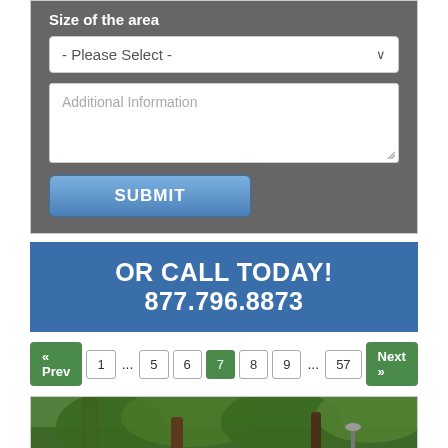Size of the area
- Please Select -
Additional Information
SUBMIT
OR CALL TODAY! 877.796.8873
« Prev  1  ...  5  6  7  8  9  ...  57  Next »
[Figure (photo): Outdoor scene with palm trees and tropical vegetation]